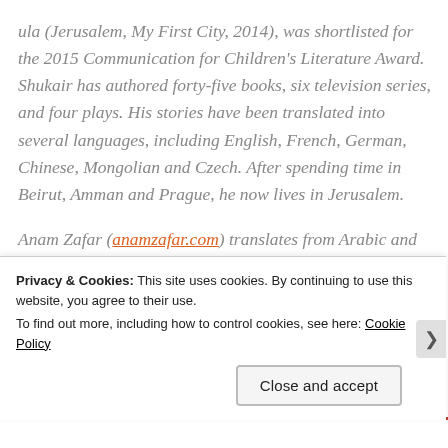ula (Jerusalem, My First City, 2014), was shortlisted for the 2015 Communication for Children's Literature Award. Shukair has authored forty-five books, six television series, and four plays. His stories have been translated into several languages, including English, French, German, Chinese, Mongolian and Czech. After spending time in Beirut, Amman and Prague, he now lives in Jerusalem.
Anam Zafar (anamzafar.com) translates from Arabic and French. Most recently, she was a mentee on the National Centre for Writing's 2020/21 Emerging Translators Mentorship programme. She is on The Linguist magazine's Editorial Board and writes for the WorldKidLit media...
Privacy & Cookies: This site uses cookies. By continuing to use this website, you agree to their use.
To find out more, including how to control cookies, see here: Cookie Policy